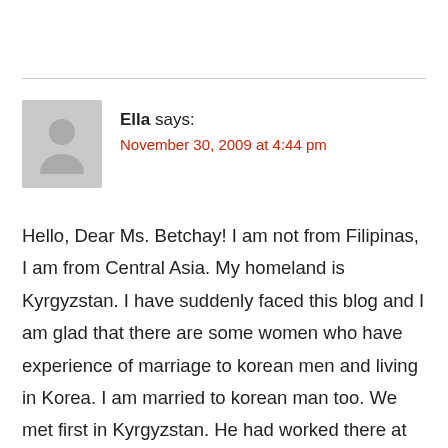Ella says:
November 30, 2009 at 4:44 pm
Hello, Dear Ms. Betchay! I am not from Filipinas, I am from Central Asia. My homeland is Kyrgyzstan. I have suddenly faced this blog and I am glad that there are some women who have experience of marriage to korean men and living in Korea. I am married to korean man too. We met first in Kyrgyzstan. He had worked there at the construction company and we lived there. Currently I live in Daegu. I have arrived here being pregnant in July 2009. In september I gave birth to my son. Now I have no